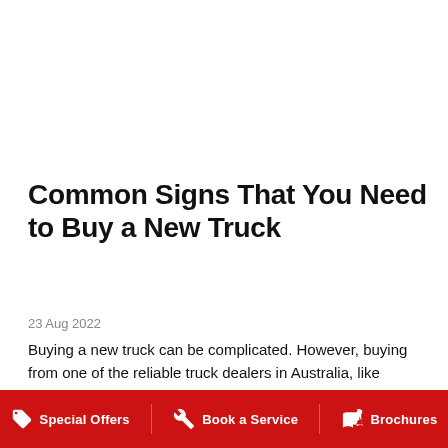Common Signs That You Need to Buy a New Truck
23 Aug 2022
Buying a new truck can be complicated. However, buying from one of the reliable truck dealers in Australia, like Adtrans Hino, can make the process convenient.
READ MORE ▶
Special Offers   Book a Service   Brochures